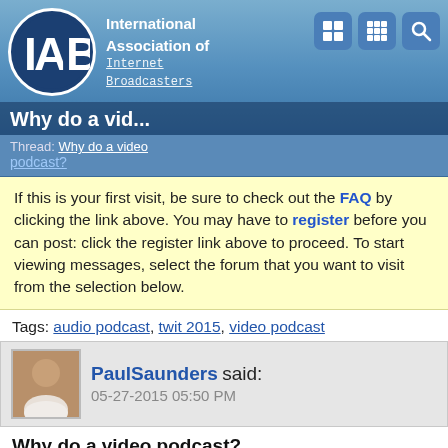[Figure (logo): IAIB (International Association of Internet Broadcasters) logo with circle emblem and navigation icons]
Why do a vid... Thread: Why do a video podcast?
If this is your first visit, be sure to check out the FAQ by clicking the link above. You may have to register before you can post: click the register link above to proceed. To start viewing messages, select the forum that you want to visit from the selection below.
Tags: audio podcast, twit 2015, video podcast
PaulSaunders said: 05-27-2015 05:50 PM
Why do a video podcast?
With the recent news of Twit ending live content It got me thinking about video podcasts. Who is actually watching video podcasts over audio? Even when I am watching a